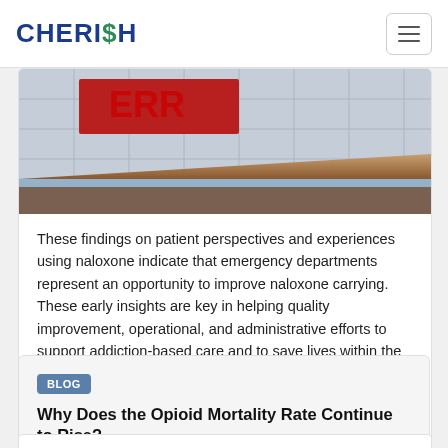CHERISH
[Figure (photo): Exterior of a hospital or emergency department building showing glass panels and a covered entrance with red signage]
These findings on patient perspectives and experiences using naloxone indicate that emergency departments represent an opportunity to improve naloxone carrying. These early insights are key in helping quality improvement, operational, and administrative efforts to support addiction-based care and to save lives within the community.
Read the full story →
BLOG
Why Does the Opioid Mortality Rate Continue to Rise?
March 17, 2022